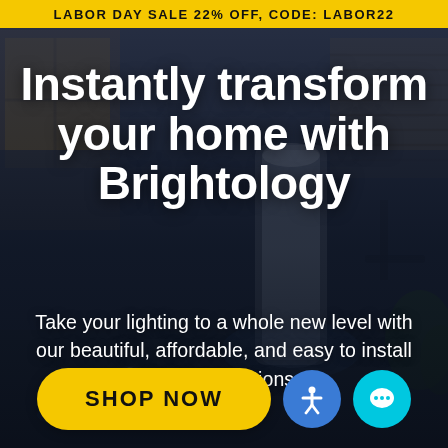LABOR DAY SALE 22% OFF, CODE: LABOR22
[Figure (photo): Dark outdoor patio/deck at night with blue LED ground lights embedded in the deck surface, a glowing white cylindrical light fixture in the background, outdoor furniture, and window blinds visible.]
Instantly transform your home with Brightology
Take your lighting to a whole new level with our beautiful, affordable, and easy to install lighting solutions.
SHOP NOW